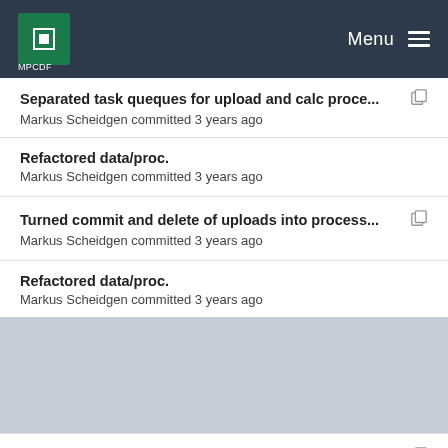MPCDF | Menu
Separated task queques for upload and calc proce... | Markus Scheidgen committed 3 years ago
Refactored data/proc. | Markus Scheidgen committed 3 years ago
Turned commit and delete of uploads into process... | Markus Scheidgen committed 3 years ago
Refactored data/proc. | Markus Scheidgen committed 3 years ago
Switch to new files implemenation. Not all tests w... | Markus Scheidgen committed 3 years ago
Refactored data/proc. | Markus Scheidgen committed 3 years ago